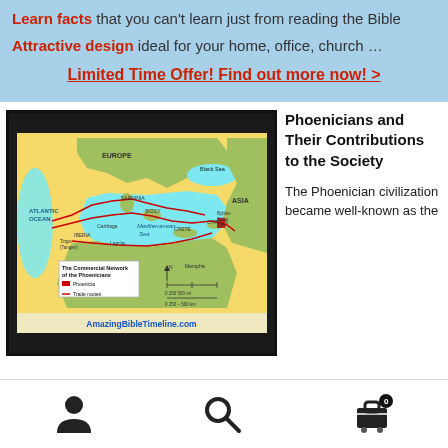Learn facts that you can't learn just from reading the Bible
Attractive design ideal for your home, office, church …
Limited Time Offer! Find out more now! >
[Figure (map): Map showing The Commercial Network of the Phoenicians, including Phoenicia territory and Trade routes across the Mediterranean Sea, ATLANTIC OCEAN, EUROPE, AFRICA, ASIA areas. Shows cities like Carthage, Memphis, Byblos, Sidon, Tyre. Labels include Mediterranean Sea, Black Sea, SARDINIA, SICILY, CRETE, CYPRUS. Legend shows Phoenicia in red block and Trade routes as red line. AmazingBibleTimeline.com watermark at bottom.]
Phoenicians and Their Contributions to the Society
The Phoenician civilization became well-known as the